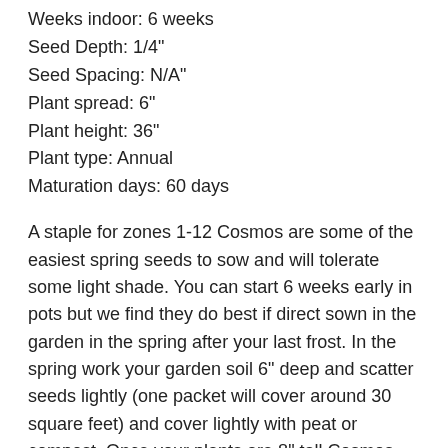Weeks indoor: 6 weeks
Seed Depth: 1/4"
Seed Spacing: N/A"
Plant spread: 6"
Plant height: 36"
Plant type: Annual
Maturation days: 60 days
A staple for zones 1-12 Cosmos are some of the easiest spring seeds to sow and will tolerate some light shade. You can start 6 weeks early in pots but we find they do best if direct sown in the garden in the spring after your last frost. In the spring work your garden soil 6" deep and scatter seeds lightly (one packet will cover around 30 square feet) and cover lightly with peat or compost. Once your plants are 8" tall Cosmos will produce more flowers if you pinch, or cut, the top 3" of the plant off (just above a leaf set).
Cosmos makes a great cut flower which usually lasts about 7 days in the vase.